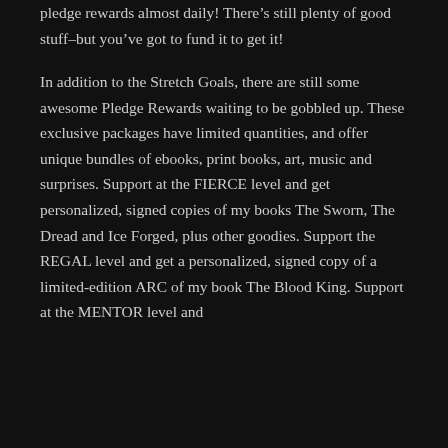pledge rewards almost daily! There’s still plenty of good stuff–but you’ve got to fund it to get it!

In addition to the Stretch Goals, there are still some awesome Pledge Rewards waiting to be gobbled up. These exclusive packages have limited quantities, and offer unique bundles of ebooks, print books, art, music and surprises. Support at the FIERCE level and get personalized, signed copies of my books The Sworn, The Dread and Ice Forged, plus other goodies. Support the REGAL level and get a personalized, signed copy of a limited-edition ARC of my book The Blood King. Support at the MENTOR level and